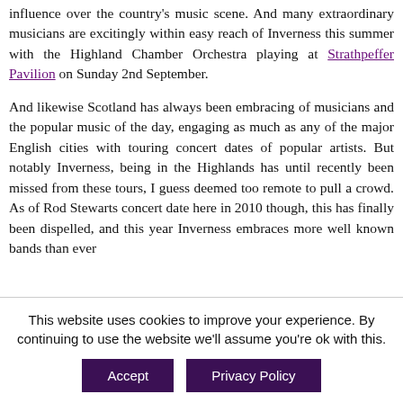influence over the country's music scene. And many extraordinary musicians are excitingly within easy reach of Inverness this summer with the Highland Chamber Orchestra playing at Strathpeffer Pavilion on Sunday 2nd September.
And likewise Scotland has always been embracing of musicians and the popular music of the day, engaging as much as any of the major English cities with touring concert dates of popular artists. But notably Inverness, being in the Highlands has until recently been missed from these tours, I guess deemed too remote to pull a crowd. As of Rod Stewarts concert date here in 2010 though, this has finally been dispelled, and this year Inverness embraces more well known bands than ever
This website uses cookies to improve your experience. By continuing to use the website we'll assume you're ok with this.
Accept
Privacy Policy